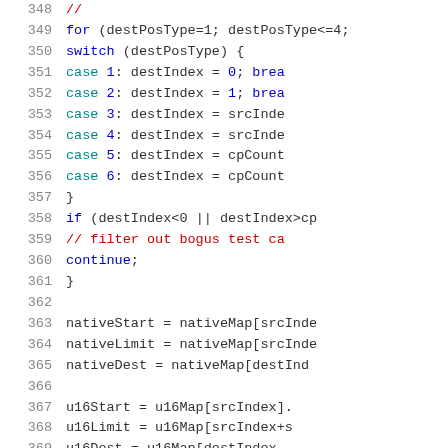[Figure (screenshot): Source code listing (C/C++) showing lines 348-369 with syntax highlighting. Line numbers in gray on the left, keywords in blue, comments in red, identifiers in teal/black. Code shows a for loop with switch statement handling destPosType cases 1-6, an if condition checking destIndex bounds, and variable assignments for nativeStart, nativeLimit, nativeDest, u16Start, u16Limit, u16Dest.]